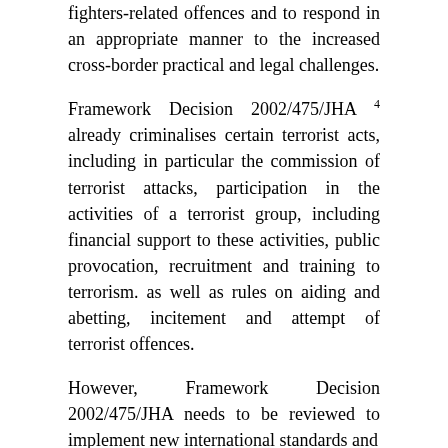fighters-related offences and to respond in an appropriate manner to the increased cross-border practical and legal challenges.
Framework Decision 2002/475/JHA 4 already criminalises certain terrorist acts, including in particular the commission of terrorist attacks, participation in the activities of a terrorist group, including financial support to these activities, public provocation, recruitment and training to terrorism. as well as rules on aiding and abetting, incitement and attempt of terrorist offences.
However, Framework Decision 2002/475/JHA needs to be reviewed to implement new international standards and